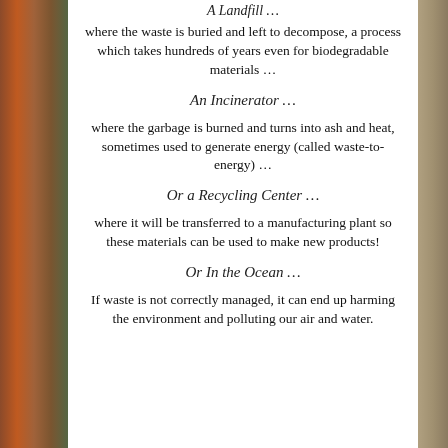where the waste is buried and left to decompose, a process which takes hundreds of years even for biodegradable materials …
An Incinerator …
where the garbage is burned and turns into ash and heat, sometimes used to generate energy (called waste-to-energy) …
Or a Recycling Center …
where it will be transferred to a manufacturing plant so these materials can be used to make new products!
Or In the Ocean …
If waste is not correctly managed, it can end up harming the environment and polluting our air and water.